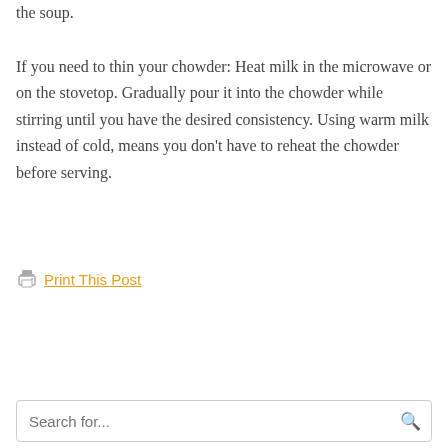the soup.
If you need to thin your chowder: Heat milk in the microwave or on the stovetop. Gradually pour it into the chowder while stirring until you have the desired consistency. Using warm milk instead of cold, means you don’t have to reheat the chowder before serving.
Print This Post